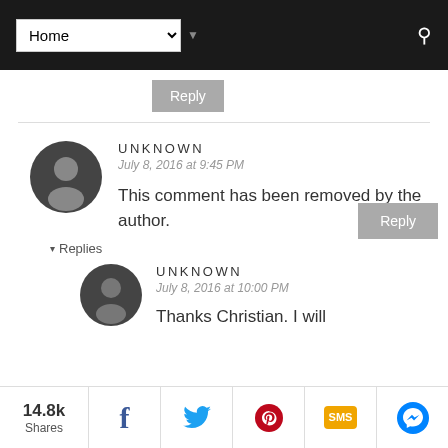Home navigation bar with dropdown and search icon
Reply
UNKNOWN
July 8, 2016 at 9:45 PM
This comment has been removed by the author.
Reply
▾ Replies
UNKNOWN
July 8, 2016 at 10:00 PM
Thanks Christian. I will
14.8k Shares